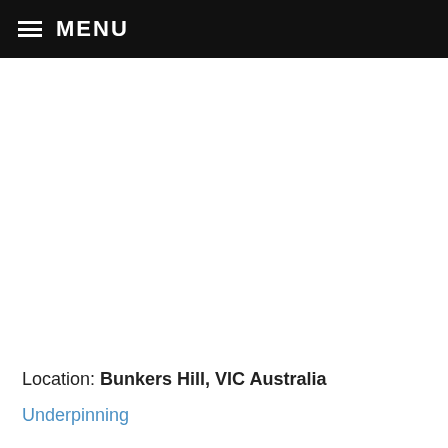MENU
Location: Bunkers Hill, VIC Australia
Underpinning